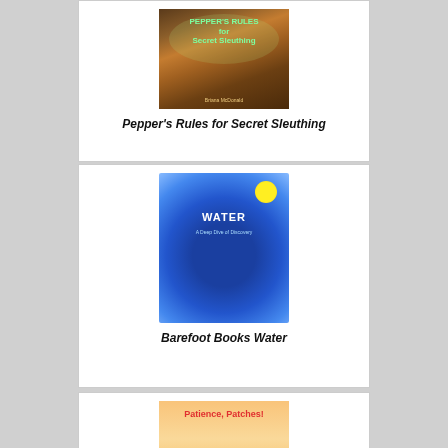[Figure (illustration): Book cover of Pepper's Rules for Secret Sleuthing by Briana McDonald, showing illustrated children peeking through trees]
Pepper's Rules for Secret Sleuthing
[Figure (illustration): Book cover of Barefoot Books Water: A Deep Dive of Discovery, showing colorful swirling water creatures and a sun]
Barefoot Books Water
[Figure (illustration): Book cover of Patience, Patches! shown partially, with pink/orange background and red title text]